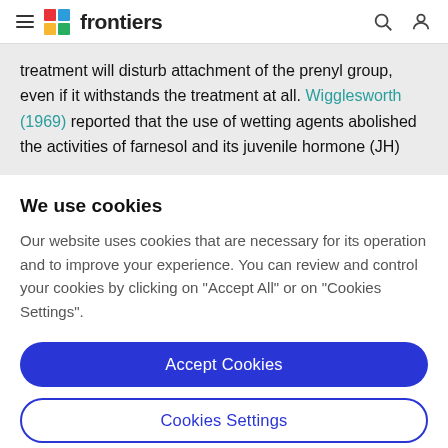frontiers
treatment will disturb attachment of the prenyl group, even if it withstands the treatment at all. Wigglesworth (1969) reported that the use of wetting agents abolished the activities of farnesol and its juvenile hormone (JH)
We use cookies
Our website uses cookies that are necessary for its operation and to improve your experience. You can review and control your cookies by clicking on "Accept All" or on "Cookies Settings".
Accept Cookies
Cookies Settings